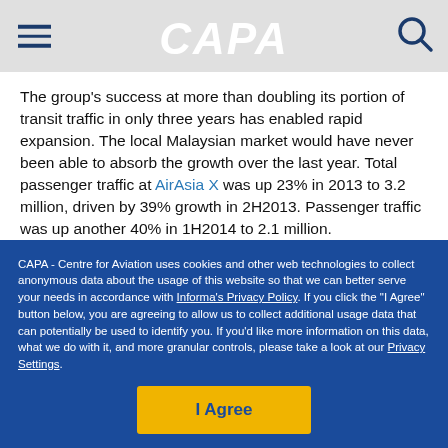CAPA
The group's success at more than doubling its portion of transit traffic in only three years has enabled rapid expansion. The local Malaysian market would have never been able to absorb the growth over the last year. Total passenger traffic at AirAsia X was up 23% in 2013 to 3.2 million, driven by 39% growth in 2H2013. Passenger traffic was up another 40% in 1H2014 to 2.1 million.
CAPA - Centre for Aviation uses cookies and other web technologies to collect anonymous data about the usage of this website so that we can better serve your needs in accordance with Informa's Privacy Policy. If you click the "I Agree" button below, you are agreeing to allow us to collect additional usage data that can potentially be used to identify you. If you'd like more information on this data, what we do with it, and more granular controls, please take a look at our Privacy Settings.